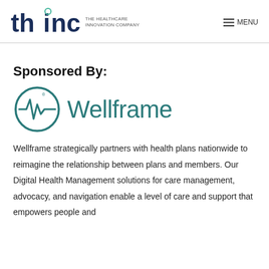[Figure (logo): THINC - The Healthcare Innovation Company logo with menu button]
Sponsored By:
[Figure (logo): Wellframe logo with teal circle/heartbeat icon and Wellframe wordmark]
Wellframe strategically partners with health plans nationwide to reimagine the relationship between plans and members. Our Digital Health Management solutions for care management, advocacy, and navigation enable a level of care and support that empowers people and